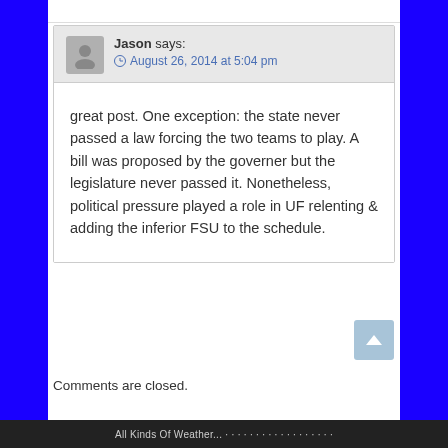Jason says: August 26, 2014 at 5:04 pm
great post. One exception: the state never passed a law forcing the two teams to play. A bill was proposed by the governer but the legislature never passed it. Nonetheless, political pressure played a role in UF relenting & adding the inferior FSU to the schedule.
Comments are closed.
All Kinds Of Weather... (footer text)